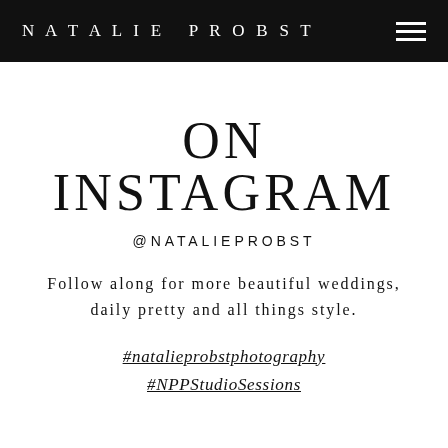NATALIE PROBST
ON INSTAGRAM
@NATALIEPROBST
Follow along for more beautiful weddings, daily pretty and all things style.
#natalieprobstphotography
#NPPStudioSessions